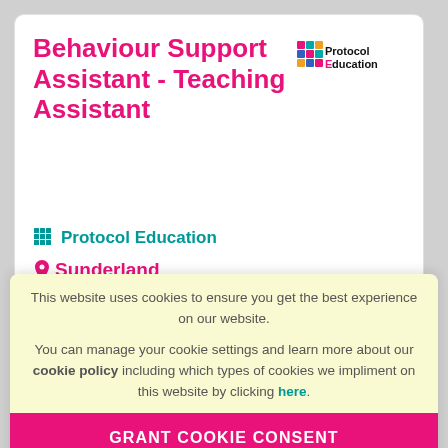Behaviour Support Assistant - Teaching Assistant
[Figure (logo): Protocol Education logo with colorful grid icon and bold text 'Protocol Education']
Protocol Education
Sunderland
£70 - 80 per day + PAYE - no umbrella companies
This website uses cookies to ensure you get the best experience on our website.
You can manage your cookie settings and learn more about our cookie policy including which types of cookies we impliment on this website by clicking here.
GRANT COOKIE CONSENT